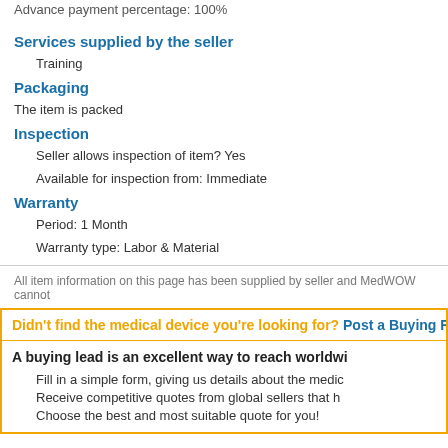Advance payment percentage: 100%
Services supplied by the seller
Training
Packaging
The item is packed
Inspection
Seller allows inspection of item? Yes
Available for inspection from: Immediate
Warranty
Period: 1 Month
Warranty type: Labor & Material
All item information on this page has been supplied by seller and MedWOW cannot
Didn't find the medical device you're looking for? Post a Buying Re
A buying lead is an excellent way to reach worldwi
Fill in a simple form, giving us details about the medic
Receive competitive quotes from global sellers that h
Choose the best and most suitable quote for you!